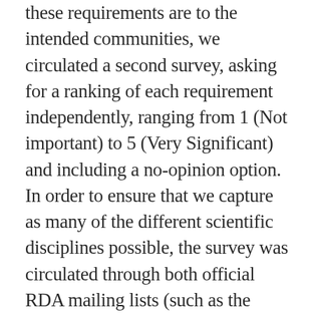these requirements are to the intended communities, we circulated a second survey, asking for a ranking of each requirement independently, ranging from 1 (Not important) to 5 (Very Significant) and including a no-opinion option. In order to ensure that we capture as many of the different scientific disciplines possible, the survey was circulated through both official RDA mailing lists (such as the Data Discovery Paradigms, the FAIRSharing and the Research Data Management groups) as well as through targeted networks (such as DANS, NIH and NBDC Japan). Ultimately, we received 31 anonymous responses, which allowed us to rank the nine requirements as listed in Table 3 (in the order of descending importance). Please note that the survey itself didn't capture participants' background;